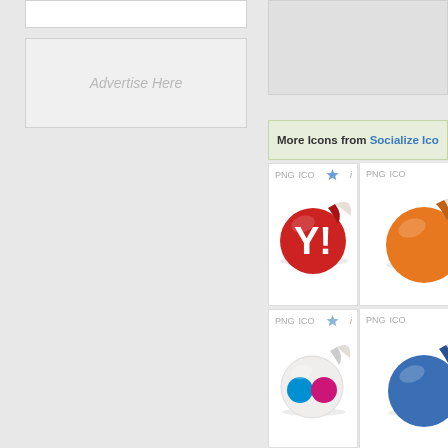[Figure (screenshot): Top white box on left sidebar]
Advertise Here
[Figure (screenshot): Gray advertisement placeholder box on right side top]
More Icons from Socialize Ico...
[Figure (illustration): Yahoo sticker icon - red circular sticker with peeling corner and Y! logo]
[Figure (illustration): Orange circular sticker icon (partially visible)]
[Figure (illustration): Flickr sticker icon - white circular sticker with blue and pink dots]
[Figure (illustration): Blue circular sticker icon (partially visible)]